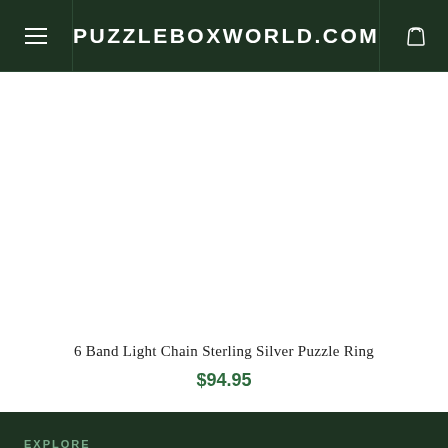PUZZLEBOXWORLD.COM
[Figure (photo): Product image area for 6 Band Light Chain Sterling Silver Puzzle Ring (image not shown)]
6 Band Light Chain Sterling Silver Puzzle Ring
$94.95
EXPLORE
Our Policies
Contact Us
Gift Wrapping